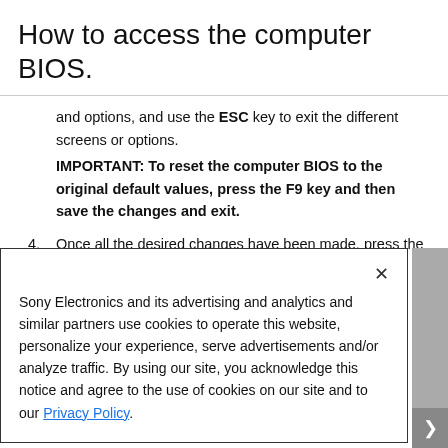How to access the computer BIOS.
and options, and use the ESC key to exit the different screens or options.
IMPORTANT: To reset the computer BIOS to the original default values, press the F9 key and then save the changes and exit.
4. Once all the desired changes have been made, press the ESC key until the Exit menu is displayed.
Sony Electronics and its advertising and analytics and similar partners use cookies to operate this website, personalize your experience, serve advertisements and/or analyze traffic. By using our site, you acknowledge this notice and agree to the use of cookies on our site and to our Privacy Policy.